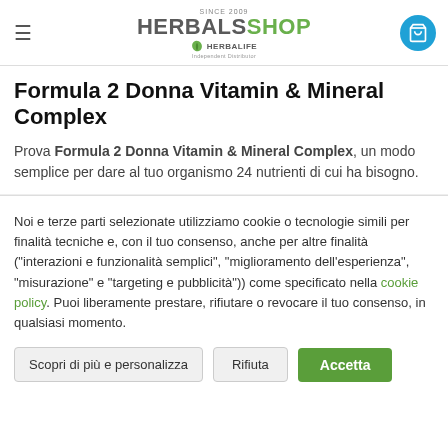HERBALSSHOP - HERBALIFE
Formula 2 Donna Vitamin & Mineral Complex
Prova Formula 2 Donna Vitamin & Mineral Complex, un modo semplice per dare al tuo organismo 24 nutrienti di cui ha bisogno.
Noi e terze parti selezionate utilizziamo cookie o tecnologie simili per finalità tecniche e, con il tuo consenso, anche per altre finalità ("interazioni e funzionalità semplici", "miglioramento dell'esperienza", "misurazione" e "targeting e pubblicità")) come specificato nella cookie policy. Puoi liberamente prestare, rifiutare o revocare il tuo consenso, in qualsiasi momento.
Scopri di più e personalizza
Rifiuta
Accetta